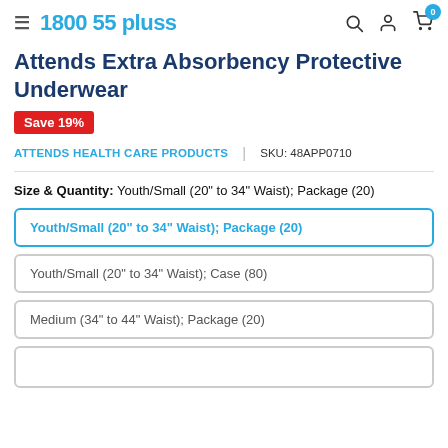≡ 1800 55 pluss
Attends Extra Absorbency Protective Underwear
Save 19%
ATTENDS HEALTH CARE PRODUCTS  |  SKU: 48APP0710
Size & Quantity: Youth/Small (20" to 34" Waist); Package (20)
Youth/Small (20" to 34" Waist); Package (20)
Youth/Small (20" to 34" Waist); Case (80)
Medium (34" to 44" Waist); Package (20)